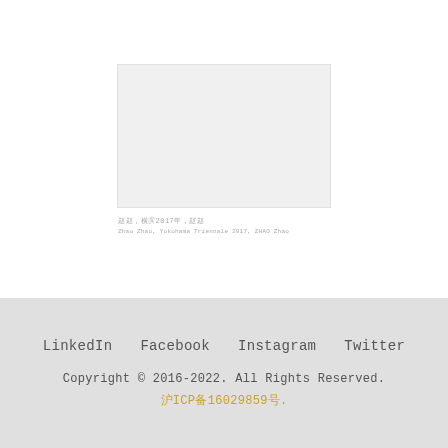[Figure (photo): A light gray rectangular image placeholder]
赵赵，横滨2017年，赵赵
Zhao Zhao, Yokohama Triennale 2017, ZHAO Zhao
LinkedIn   Facebook   Instagram   Twitter
Copyright © 2016-2022. All Rights Reserved.
沪ICP备16029859号.